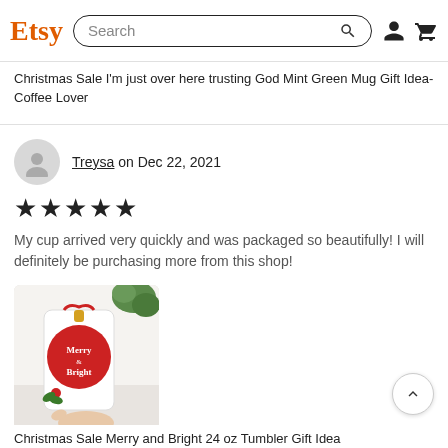Etsy | Search
Christmas Sale I'm just over here trusting God Mint Green Mug Gift Idea- Coffee Lover
Treysa on Dec 22, 2021
★★★★★
My cup arrived very quickly and was packaged so beautifully! I will definitely be purchasing more from this shop!
[Figure (photo): Photo of a holiday tumbler cup with red Christmas ornament design and 'Merry & Bright' text, held by hand]
Christmas Sale Merry and Bright 24 oz Tumbler Gift Idea